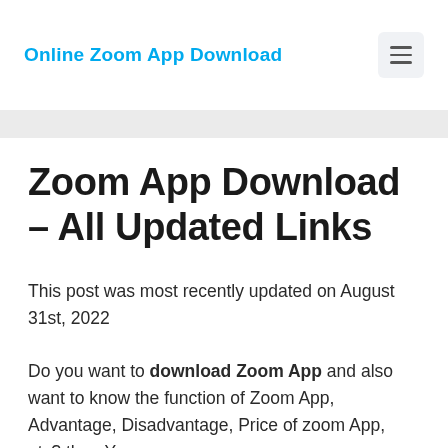Online Zoom App Download
Zoom App Download – All Updated Links
This post was most recently updated on August 31st, 2022
Do you want to download Zoom App and also want to know the function of Zoom App, Advantage, Disadvantage, Price of zoom App, etc? then You are